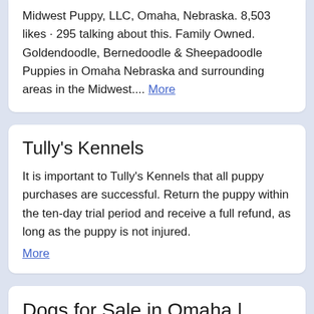Midwest Puppy, LLC, Omaha, Nebraska. 8,503 likes · 295 talking about this. Family Owned. Goldendoodle, Bernedoodle & Sheepadoodle Puppies in Omaha Nebraska and surrounding areas in the Midwest.... More
Tully's Kennels
It is important to Tully's Kennels that all puppy purchases are successful. Return the puppy within the ten-day trial period and receive a full refund, as long as the puppy is not injured. More
Dogs for Sale in Omaha | Dogs on Oodle Classifieds
Find Dogs for Sale in Omaha on Oodle